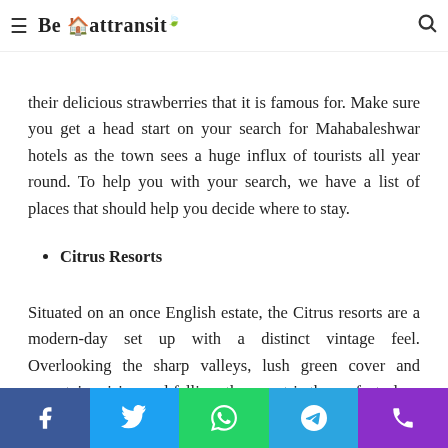≡  Be 🏠 attransit 🍃  🔍
their delicious strawberries that it is famous for. Make sure you get a head start on your search for Mahabaleshwar hotels as the town sees a huge influx of tourists all year round. To help you with your search, we have a list of places that should help you decide where to stay.
Citrus Resorts
Situated on an once English estate, the Citrus resorts are a modern-day set up with a distinct vintage feel. Overlooking the sharp valleys, lush green cover and mountains rising and falling, the resort is the perfect place to unwind with your friends and families. Spread over 5 acres of land and surrounded by thick forest cover, the resort is a hit among
Facebook  Twitter  WhatsApp  Telegram  Phone